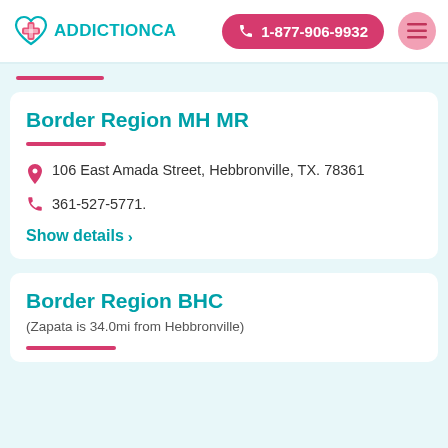[Figure (logo): AddictionCA logo with teal heart and pink cross icon]
1-877-906-9932
Border Region MH MR
106 East Amada Street, Hebbronville, TX. 78361
361-527-5771.
Show details >
Border Region BHC
(Zapata is 34.0mi from Hebbronville)